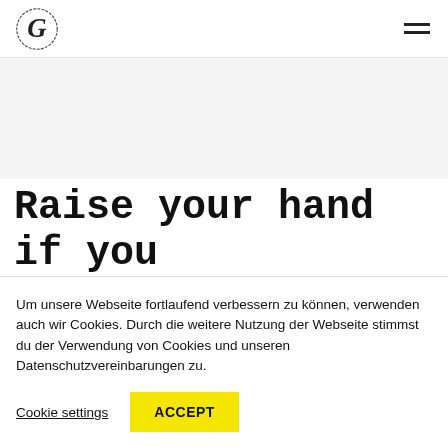G logo and hamburger menu
[Figure (other): Light grey banner/hero area below the header navigation]
Raise your hand if you are using an Adobe
Um unsere Webseite fortlaufend verbessern zu können, verwenden auch wir Cookies. Durch die weitere Nutzung der Webseite stimmst du der Verwendung von Cookies und unseren Datenschutzvereinbarungen zu.
Cookie settings   ACCEPT